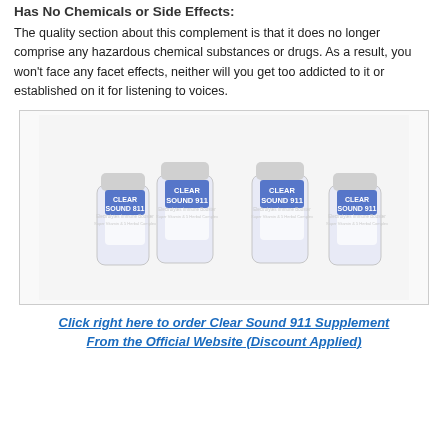Has No Chemicals or Side Effects:
The quality section about this complement is that it does no longer comprise any hazardous chemical substances or drugs. As a result, you won't face any facet effects, neither will you get too addicted to it or established on it for listening to voices.
[Figure (photo): Four bottles of Clear Sound 911 supplement arranged in a group on a white background inside a bordered box.]
Click right here to order Clear Sound 911 Supplement From the Official Website (Discount Applied)